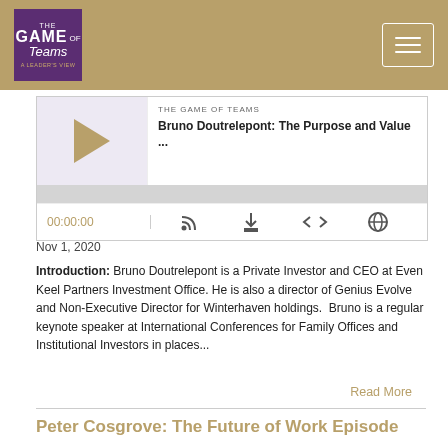The Game of Teams
[Figure (screenshot): Podcast player widget showing episode 'Bruno Doutrelepont: The Purpose and Value ...' with play button, progress bar, time 00:00:00, and control icons]
Nov 1, 2020
Introduction: Bruno Doutrelepont is a Private Investor and CEO at Even Keel Partners Investment Office. He is also a director of Genius Evolve and Non-Executive Director for Winterhaven holdings.  Bruno is a regular keynote speaker at International Conferences for Family Offices and Institutional Investors in places...
Read More
Peter Cosgrove: The Future of Work Episode